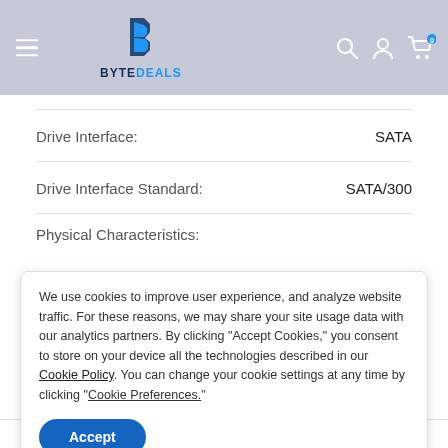ByteDeals
| Attribute | Value |
| --- | --- |
| Drive Interface: | SATA |
| Drive Interface Standard: | SATA/300 |
Physical Characteristics:
We use cookies to improve user experience, and analyze website traffic. For these reasons, we may share your site usage data with our analytics partners. By clicking “Accept Cookies,” you consent to store on your device all the technologies described in our Cookie Policy. You can change your cookie settings at any time by clicking “Cookie Preferences.”
Accept
| Attribute | Value |
| --- | --- |
| Hot Swappable: | Yes |